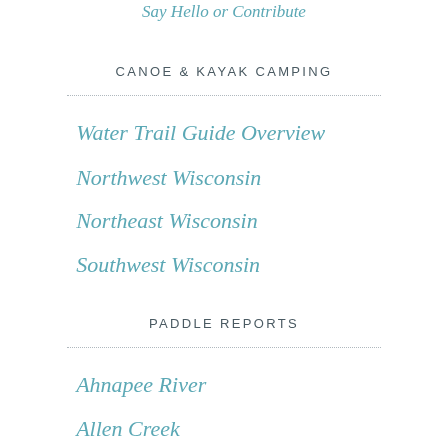Say Hello or Contribute
CANOE & KAYAK CAMPING
Water Trail Guide Overview
Northwest Wisconsin
Northeast Wisconsin
Southwest Wisconsin
PADDLE REPORTS
Ahnapee River
Allen Creek